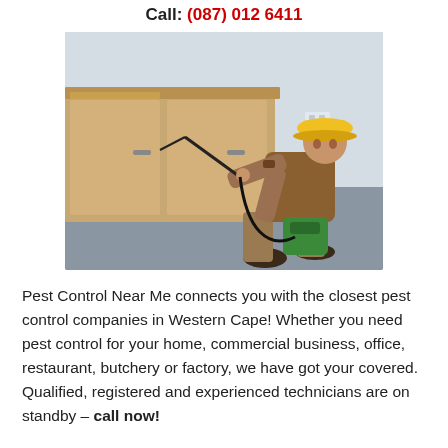Call: (087) 012 6411
[Figure (photo): A pest control technician wearing a yellow hard hat and brown uniform, crouching next to kitchen cabinets and applying treatment with a spray lance and green sprayer machine on a grey floor.]
Pest Control Near Me connects you with the closest pest control companies in Western Cape! Whether you need pest control for your home, commercial business, office, restaurant, butchery or factory, we have got your covered. Qualified, registered and experienced technicians are on standby – call now!